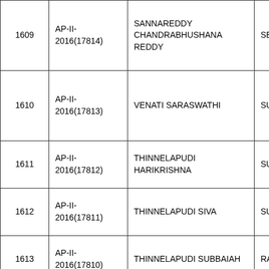|  |  |  |  |
| --- | --- | --- | --- |
| 1609 | AP-II-2016(17814) | SANNAREDDY CHANDRABHUSHANA REDDY | SESHARED... |
| 1610 | AP-II-2016(17813) | VENATI SARASWATHI | SUDHAKAR... |
| 1611 | AP-II-2016(17812) | THINNELAPUDI HARIKRISHNA | SUBBAIAH |
| 1612 | AP-II-2016(17811) | THINNELAPUDI SIVA | SUBBAIAH |
| 1613 | AP-II-2016(17810) | THINNELAPUDI SUBBAIAH | RAMANAIA... |
| 1614 | AP-II-2016(17809) | VASIREDDY RANGAREDDY | MEERA RE... |
| 1615 | AP-II-2016(17808) | PAGADALA SARADHA | P INDROSE... |